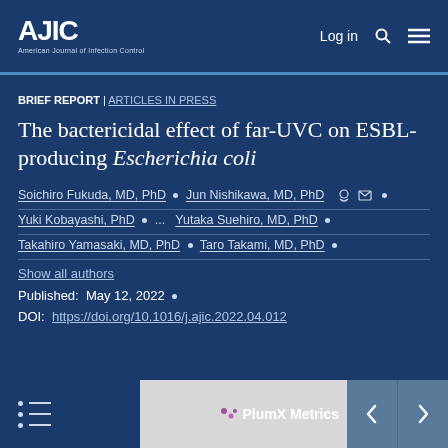AJIC American Journal of Infection Control | Log in
BRIEF REPORT | ARTICLES IN PRESS
The bactericidal effect of far-UVC on ESBL-producing Escherichia coli
Soichiro Fukuda, MD, PhD • Jun Nishikawa, MD, PhD •
Yuki Kobayashi, PhD • ... Yutaka Suehiro, MD, PhD •
Takahiro Yamasaki, MD, PhD • Taro Takami, MD, PhD •
Show all authors
Published: May 12, 2022 •
DOI: https://doi.org/10.1016/j.ajic.2022.04.012